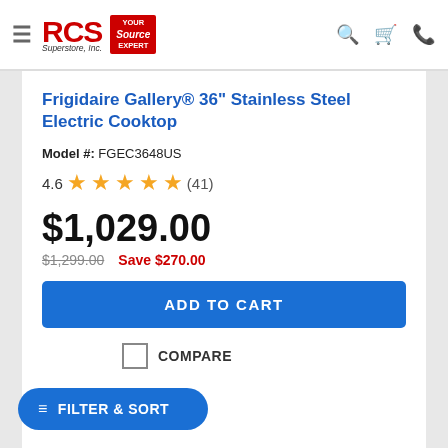[Figure (logo): RCS Superstore, Inc. logo with red RCS text and Superstore, Inc. subtitle, alongside a red house/source badge logo]
Frigidaire Gallery® 36" Stainless Steel Electric Cooktop
Model #: FGEC3648US
4.6 ★★★★½ (41)
$1,029.00
$1,299.00  Save $270.00
ADD TO CART
COMPARE
FILTER & SORT